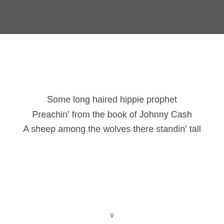[Figure (other): Dark gray horizontal header bar at top of page]
Some long haired hippie prophet
Preachin' from the book of Johnny Cash
A sheep among the wolves there standin' tall
v